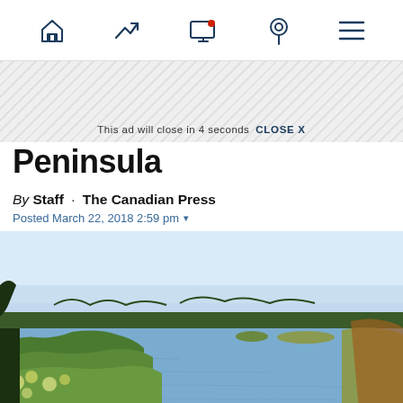Navigation bar with home, trending, screen/alert, location, and menu icons
[Figure (other): Ad banner with diagonal hatching pattern and close message: 'This ad will close in 4 seconds  CLOSE X']
Peninsula
By Staff · The Canadian Press
Posted March 22, 2018 2:59 pm
[Figure (photo): Outdoor landscape photo showing a calm river or lake with lush green vegetation on the near bank including wildflowers and shrubs, trees lining the far shore under a clear light blue sky]